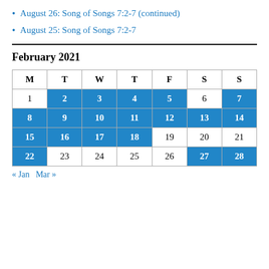August 26: Song of Songs 7:2-7 (continued)
August 25: Song of Songs 7:2-7
February 2021
| M | T | W | T | F | S | S |
| --- | --- | --- | --- | --- | --- | --- |
| 1 | 2 | 3 | 4 | 5 | 6 | 7 |
| 8 | 9 | 10 | 11 | 12 | 13 | 14 |
| 15 | 16 | 17 | 18 | 19 | 20 | 21 |
| 22 | 23 | 24 | 25 | 26 | 27 | 28 |
« Jan   Mar »